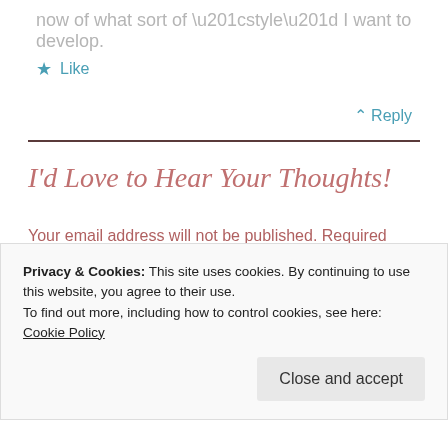now of what sort of “style” I want to develop.
★ Like
⌃ Reply
I’d Love to Hear Your Thoughts!
Your email address will not be published. Required fields are marked *
Comment *
Privacy & Cookies: This site uses cookies. By continuing to use this website, you agree to their use.
To find out more, including how to control cookies, see here: Cookie Policy
Close and accept